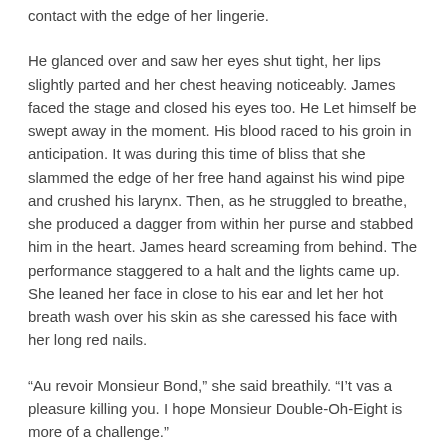contact with the edge of her lingerie.
He glanced over and saw her eyes shut tight, her lips slightly parted and her chest heaving noticeably. James faced the stage and closed his eyes too. He Let himself be swept away in the moment. His blood raced to his groin in anticipation. It was during this time of bliss that she slammed the edge of her free hand against his wind pipe and crushed his larynx. Then, as he struggled to breathe, she produced a dagger from within her purse and stabbed him in the heart. James heard screaming from behind. The performance staggered to a halt and the lights came up. She leaned her face in close to his ear and let her hot breath wash over his skin as she caressed his face with her long red nails.
“Au revoir Monsieur Bond,” she said breathily. “I’t vas a pleasure killing you. I hope Monsieur Double-Oh-Eight is more of a challenge.”
Author’s Note: OK, first off, I know this is technically fan-fiction, but I challenge you to name another famous